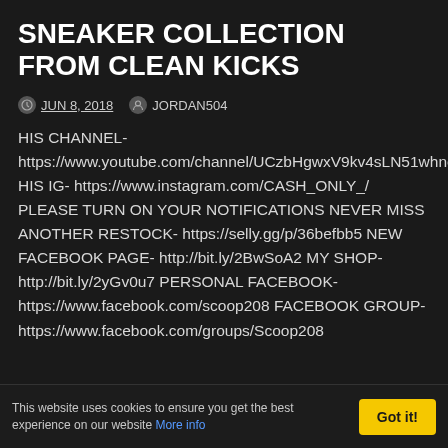SNEAKER COLLECTION FROM CLEAN KICKS
JUN 8, 2018   JORDAN504
HIS CHANNEL- https://www.youtube.com/channel/UCzbHgwxV9kv4sLN51whncwQ HIS IG- https://www.instagram.com/CASH_ONLY_/ PLEASE TURN ON YOUR NOTIFICATIONS NEVER MISS ANOTHER RESTOCK- https://selly.gg/p/36befbb5 NEW FACEBOOK PAGE- http://bit.ly/2BwSoA2 MY SHOP- http://bit.ly/2yGv0u7 PERSONAL FACEBOOK- https://www.facebook.com/scoop208 FACEBOOK GROUP- https://www.facebook.com/groups/Scoop208
This website uses cookies to ensure you get the best experience on our website More info   Got it!